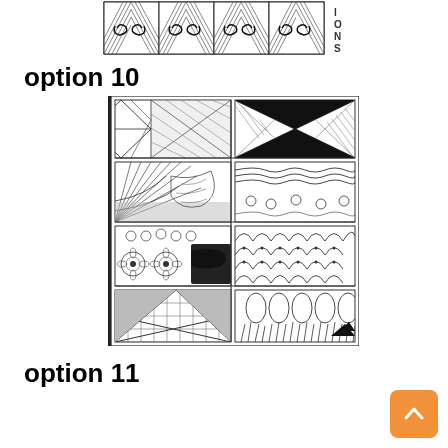[Figure (illustration): Horizontal strip of zentangle/tangle pattern showing repeating swirl and diagonal line patterns, with letters I, O, N, S vertically on the right side]
option 10
[Figure (illustration): Zentangle tile sampler grid showing 8 panels (2 columns x 4 rows) with various tangle patterns: diagonal crosshatch, X intersections, fan/leaf, wavy lines with circles, circular medallions, fish scale/scallop, grid triangles, leaf/teardrop shapes with grass]
option 11